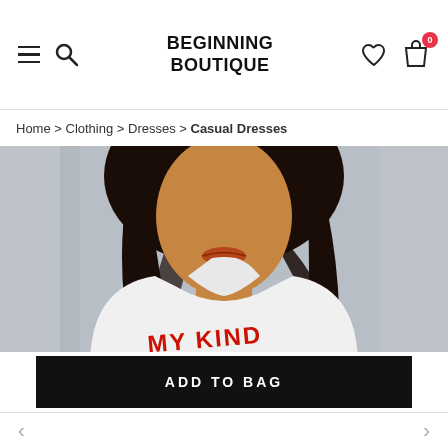BEGINNING BOUTIQUE
Home > Clothing > Dresses > Casual Dresses
[Figure (photo): Woman wearing a white turtleneck sweatshirt dress with 'MY KIND STAYCATION' graphic text in red and a tiger print on the front, photographed against a grey background]
ADD TO BAG